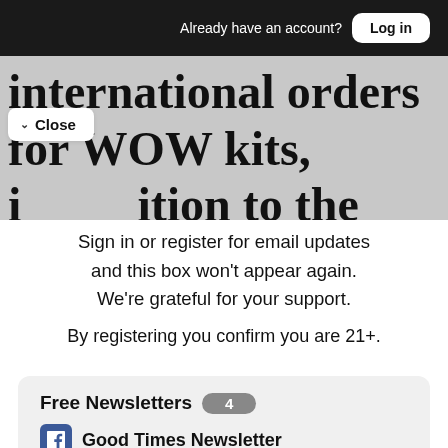Already have an account? Log in
international orders for WOW kits, in addition to the over 170 women
Close
Sign in or register for email updates and this box won't appear again. We're grateful for your support.
By registering you confirm you are 21+.
Free Newsletters 4
Good Times Newsletter